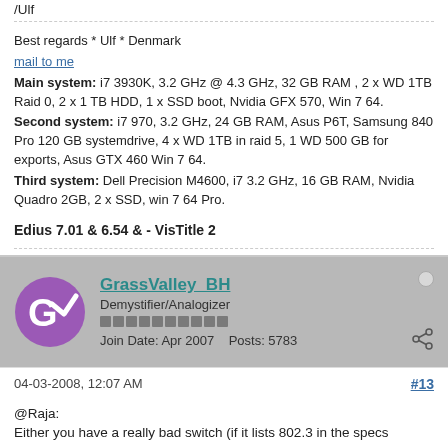/Ulf
Best regards * Ulf * Denmark
mail to me
Main system: i7 3930K, 3.2 GHz @ 4.3 GHz, 32 GB RAM , 2 x WD 1TB Raid 0, 2 x 1 TB HDD, 1 x SSD boot, Nvidia GFX 570, Win 7 64.
Second system: i7 970, 3.2 GHz, 24 GB RAM, Asus P6T, Samsung 840 Pro 120 GB systemdrive, 4 x WD 1TB in raid 5, 1 WD 500 GB for exports, Asus GTX 460 Win 7 64.
Third system: Dell Precision M4600, i7 3.2 GHz, 16 GB RAM, Nvidia Quadro 2GB, 2 x SSD, win 7 64 Pro.
Edius 7.01 & 6.54 & - VisTitle 2
GrassValley_BH
Demystifier/Analogizer
Join Date: Apr 2007    Posts: 5783
04-03-2008, 12:07 AM
#13
@Raja:
Either you have a really bad switch (if it lists 802.3 in the specs